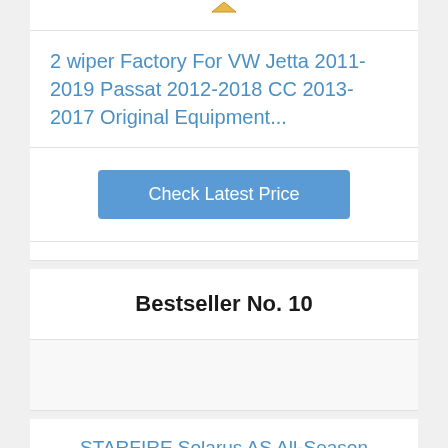[Figure (logo): Partial logo icon visible at top]
2 wiper Factory For VW Jetta 2011-2019 Passat 2012-2018 CC 2013-2017 Original Equipment...
Check Latest Price
Bestseller No. 10
[Figure (photo): Product image area (partially visible, light gray background)]
STARFIRE Solarus AS All-Season 195/65R1 91H Tire